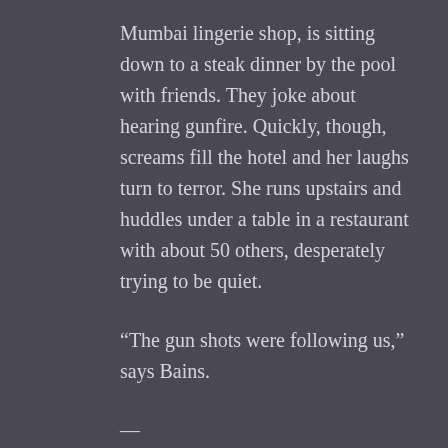Mumbai lingerie shop, is sitting down to a steak dinner by the pool with friends. They joke about hearing gunfire. Quickly, though, screams fill the hotel and her laughs turn to terror. She runs upstairs and huddles under a table in a restaurant with about 50 others, desperately trying to be quiet.
“The gun shots were following us,” says Bains.
—
9:47 p.m.
Chhatrapati Shivaji Terminus